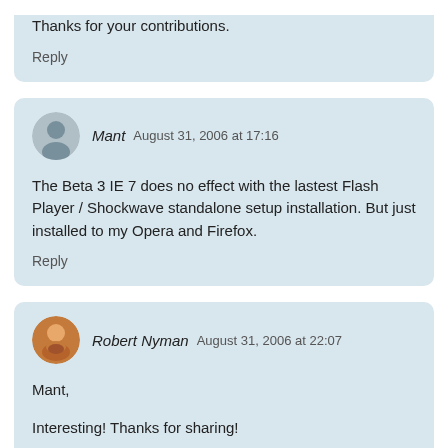Thanks for your contributions.
Reply
Mant  August 31, 2006 at 17:16
The Beta 3 IE 7 does no effect with the lastest Flash Player / Shockwave standalone setup installation. But just installed to my Opera and Firefox.
Reply
Robert Nyman  August 31, 2006 at 22:07
Mant,
Interesting! Thanks for sharing!